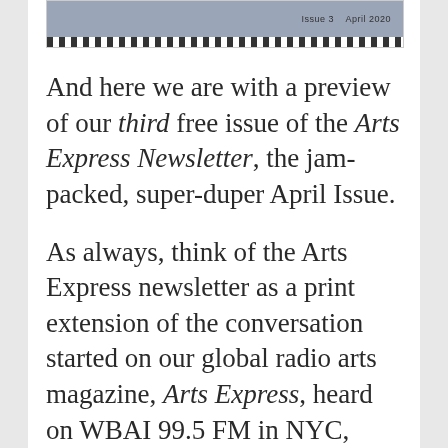[Figure (other): Newsletter cover image thumbnail showing Arts Express Newsletter Issue 3, April 2020, with a checkerboard border at the bottom]
And here we are with a preview of our third free issue of the Arts Express Newsletter, the jam-packed, super-duper April Issue.
As always, think of the Arts Express newsletter as a print extension of the conversation started on our global radio arts magazine, Arts Express, heard on WBAI 99.5 FM in NYC,